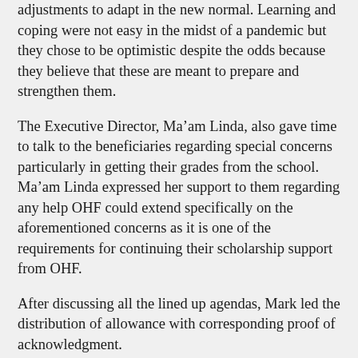adjustments to adapt in the new normal. Learning and coping were not easy in the midst of a pandemic but they chose to be optimistic despite the odds because they believe that these are meant to prepare and strengthen them.
The Executive Director, Ma’am Linda, also gave time to talk to the beneficiaries regarding special concerns particularly in getting their grades from the school. Ma’am Linda expressed her support to them regarding any help OHF could extend specifically on the aforementioned concerns as it is one of the requirements for continuing their scholarship support from OHF.
After discussing all the lined up agendas, Mark led the distribution of allowance with corresponding proof of acknowledgment.
At the end of the meeting, the beneficiaries had a...